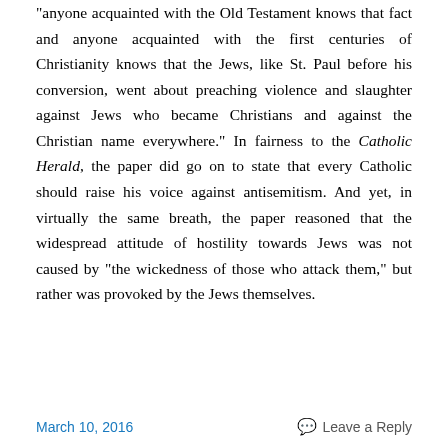“anyone acquainted with the Old Testament knows that fact and anyone acquainted with the first centuries of Christianity knows that the Jews, like St. Paul before his conversion, went about preaching violence and slaughter against Jews who became Christians and against the Christian name everywhere.” In fairness to the Catholic Herald, the paper did go on to state that every Catholic should raise his voice against antisemitism. And yet, in virtually the same breath, the paper reasoned that the widespread attitude of hostility towards Jews was not caused by “the wickedness of those who attack them,” but rather was provoked by the Jews themselves.
March 10, 2016    💬 Leave a Reply